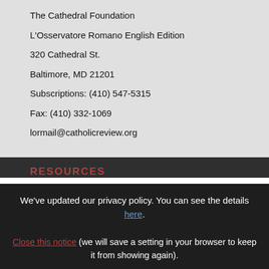The Cathedral Foundation
L'Osservatore Romano English Edition
320 Cathedral St.
Baltimore, MD 21201
Subscriptions: (410) 547-5315
Fax: (410) 332-1069
lormail@catholicreview.org
RESOURCES
We've updated our privacy policy. You can see the details here.
Close this notice (we will save a setting in your browser to keep it from showing again).